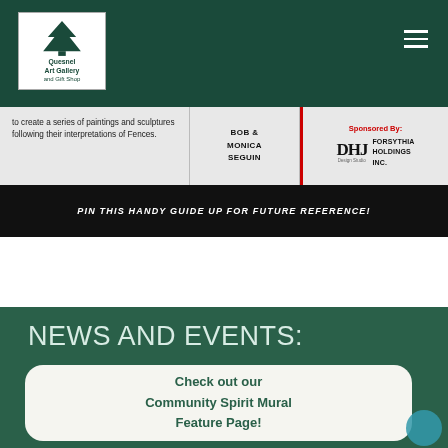Quesnel Art Gallery and Gift Shop
[Figure (screenshot): Banner strip showing text about creating paintings and sculptures following interpretations of Fences, with artist names Bob & Monica Seguin, sponsored by DHJ Design Studio and Forsythia Holdings Inc., and a bottom bar reading 'Pin This Handy Guide Up For Future Reference!']
NEWS AND EVENTS:
Check out our Community Spirit Mural Feature Page!